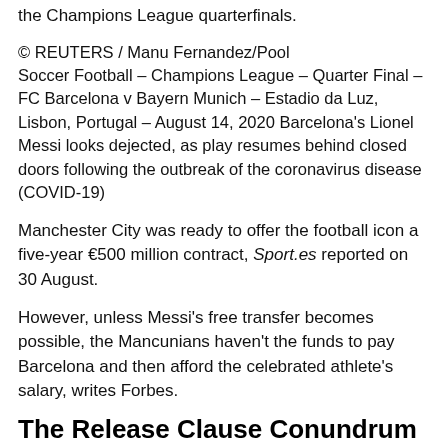the Champions League quarterfinals.
© REUTERS / Manu Fernandez/Pool
Soccer Football - Champions League - Quarter Final - FC Barcelona v Bayern Munich - Estadio da Luz, Lisbon, Portugal - August 14, 2020 Barcelona's Lionel Messi looks dejected, as play resumes behind closed doors following the outbreak of the coronavirus disease (COVID-19)
Manchester City was ready to offer the football icon a five-year €500 million contract, Sport.es reported on 30 August.
However, unless Messi's free transfer becomes possible, the Mancunians haven't the funds to pay Barcelona and then afford the celebrated athlete's salary, writes Forbes.
The Release Clause Conundrum
The 33-year-old winner of a record six Ballon d'Or awards has been with the Barcelona team since his youth, joining the ranks of Barca's division of under-14 players in the early